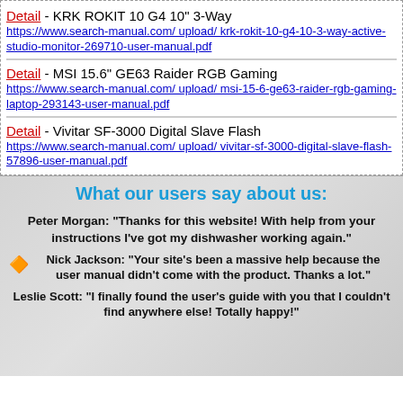Detail - KRK ROKIT 10 G4 10" 3-Way https://www.search-manual.com/ upload/ krk-rokit-10-g4-10-3-way-active-studio-monitor-269710-user-manual.pdf
Detail - MSI 15.6" GE63 Raider RGB Gaming https://www.search-manual.com/ upload/ msi-15-6-ge63-raider-rgb-gaming-laptop-293143-user-manual.pdf
Detail - Vivitar SF-3000 Digital Slave Flash https://www.search-manual.com/ upload/ vivitar-sf-3000-digital-slave-flash-57896-user-manual.pdf
What our users say about us:
Peter Morgan: "Thanks for this website! With help from your instructions I've got my dishwasher working again."
Nick Jackson: "Your site's been a massive help because the user manual didn't come with the product. Thanks a lot."
Leslie Scott: "I finally found the user's guide with you that I couldn't find anywhere else! Totally happy!"